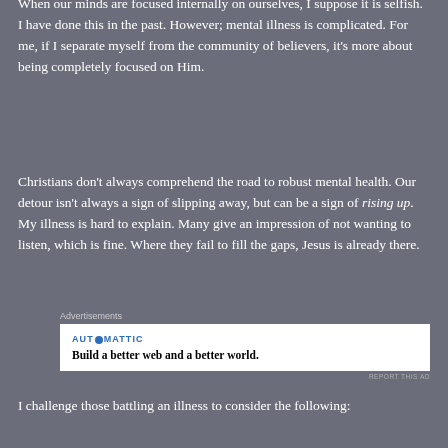When our minds are focused internally on ourselves, I suppose it is selfish. I have done this in the past. However; mental illness is complicated. For me, if I separate myself from the community of believers, it's more about being completely focused on Him.
Christians don't always comprehend the road to robust mental health. Our detour isn't always a sign of slipping away, but can be a sign of rising up. My illness is hard to explain. Many give an impression of not wanting to listen, which is fine. Where they fail to fill the gaps, Jesus is already there.
[Figure (other): Advertisement block: Automattic logo and tagline 'Build a better web and a better world.']
I challenge those battling an illness to consider the following: